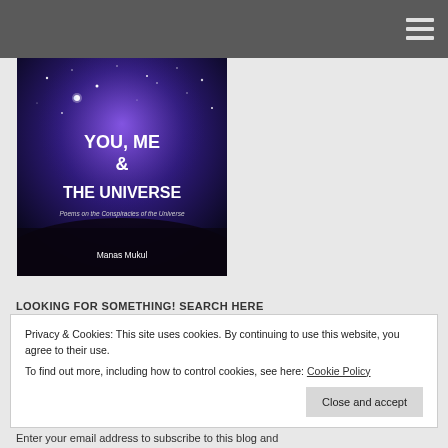[Figure (illustration): Book cover of 'You, Me & The Universe – Poems on the Conspiracies of the Universe' by Manas Mukul. Purple and blue cosmic background with stars.]
LOOKING FOR SOMETHING! SEARCH HERE
Privacy & Cookies: This site uses cookies. By continuing to use this website, you agree to their use.
To find out more, including how to control cookies, see here: Cookie Policy
Close and accept
Enter your email address to subscribe to this blog and